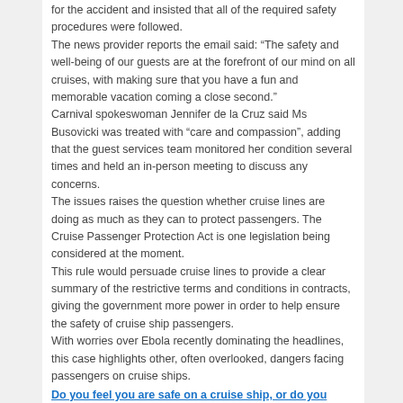for the accident and insisted that all of the required safety procedures were followed. The news provider reports the email said: “The safety and well-being of our guests are at the forefront of our mind on all cruises, with making sure that you have a fun and memorable vacation coming a close second.” Carnival spokeswoman Jennifer de la Cruz said Ms Busovicki was treated with “care and compassion”, adding that the guest services team monitored her condition several times and held an in-person meeting to discuss any concerns. The issues raises the question whether cruise lines are doing as much as they can to protect passengers. The Cruise Passenger Protection Act is one legislation being considered at the moment. This rule would persuade cruise lines to provide a clear summary of the restrictive terms and conditions in contracts, giving the government more power in order to help ensure the safety of cruise ship passengers. With worries over Ebola recently dominating the headlines, this case highlights other, often overlooked, dangers facing passengers on cruise ships.
Do you feel you are safe on a cruise ship, or do you believe more legislation should be introduced?